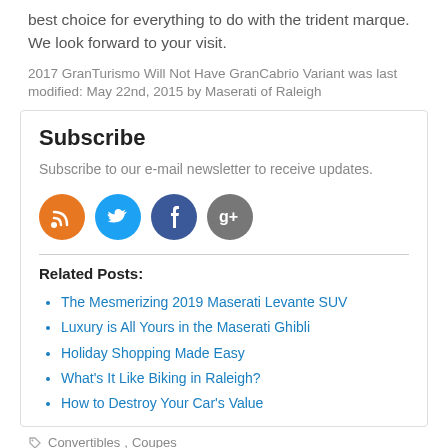best choice for everything to do with the trident marque. We look forward to your visit.
2017 GranTurismo Will Not Have GranCabrio Variant was last modified: May 22nd, 2015 by Maserati of Raleigh
Subscribe
Subscribe to our e-mail newsletter to receive updates.
[Figure (infographic): Four social media icon buttons: RSS (orange), Twitter (blue), Facebook (dark blue), Google+ (gray)]
Related Posts:
The Mesmerizing 2019 Maserati Levante SUV
Luxury is All Yours in the Maserati Ghibli
Holiday Shopping Made Easy
What's It Like Biking in Raleigh?
How to Destroy Your Car's Value
Convertibles, Coupes